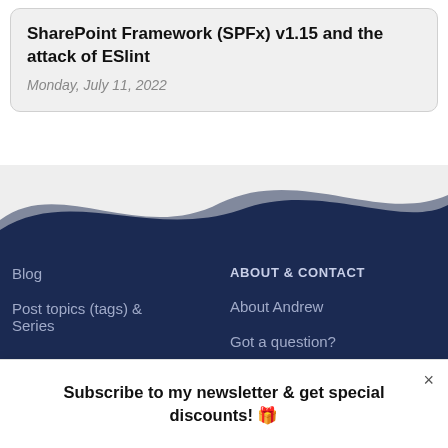SharePoint Framework (SPFx) v1.15 and the attack of ESlint
Monday, July 11, 2022
[Figure (illustration): Dark navy blue wave-shaped footer background decoration]
ABOUT & CONTACT
Blog
Post topics (tags) & Series
About Andrew
Got a question?
Subscribe to my newsletter & get special discounts! 🎁